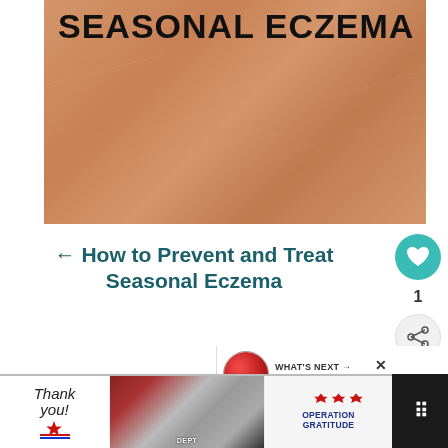[Figure (photo): Close-up macro photograph of human skin texture showing dry, rough skin. Text overlay reads 'SEASONAL ECZEMA' in large bold black uppercase letters at top left.]
← How to Prevent and Treat Seasonal Eczema
[Figure (infographic): Heart (like) button in teal circle, like count '1', and share button below on the right sidebar]
WHAT'S NEXT → lululemon City Adventurer...
[Figure (photo): Photograph of firefighters/first responders group outside a fire station]
[Figure (infographic): Advertisement banner: 'Thank you!' handwritten text with American flag star graphic, group photo of firefighters, 'OPERATION GRATITUDE' logo with stars and stripes design, close button X]